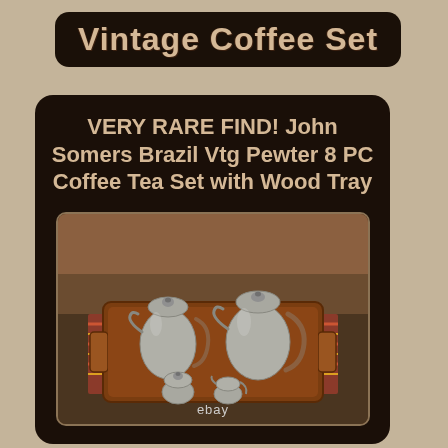Vintage Coffee Set
VERY RARE FIND! John Somers Brazil Vtg Pewter 8 PC Coffee Tea Set with Wood Tray
[Figure (photo): Photograph of a vintage pewter 8-piece coffee and tea set arranged on a wooden tray, with two large teapots/coffeepots, a sugar bowl, and a creamer, with an ebay watermark at the bottom.]